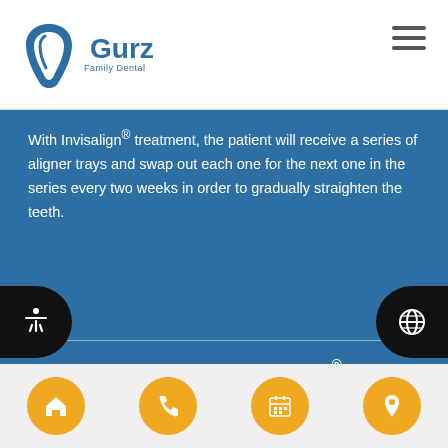Gurz Family Dental
With Invisalign® treatment, the patient will receive a series of aligner trays and swap out each one for the next one in the series every two weeks in order to gradually straighten the teeth.
Blue Compliance Indicator (Invisalign® Teen)
The blue compliance indicator is a small blue dot on the aligners that will fade from blue to clear in order to indicate if the patient is wearing the aligner for the proper amount of time and where the patient is in the Invisalign® process.
Navigation: Home, Phone, Calendar, Location